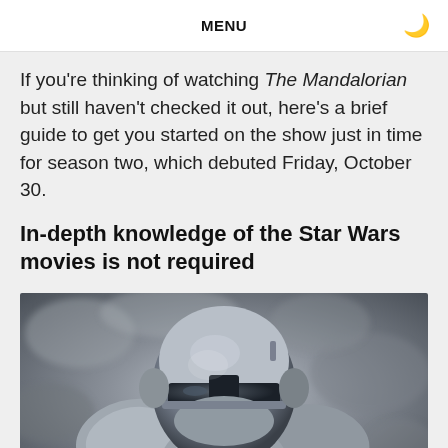MENU
If you're thinking of watching The Mandalorian but still haven't checked it out, here's a brief guide to get you started on the show just in time for season two, which debuted Friday, October 30.
In-depth knowledge of the Star Wars movies is not required
[Figure (photo): Photo of the Mandalorian character in silver-grey beskar armor and helmet, set against a blurred rocky background in muted grey tones]